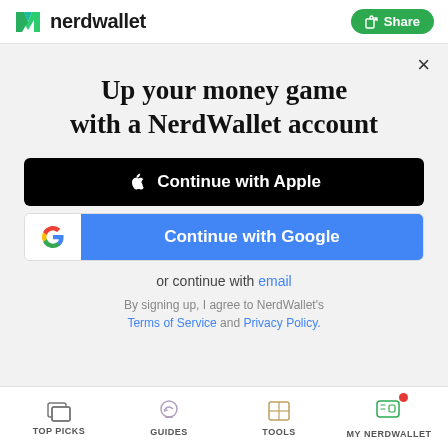[Figure (logo): NerdWallet logo: green N icon with nerdwallet text]
Share
×
Up your money game with a NerdWallet account
Continue with Apple
Continue with Google
or continue with email
By signing up, I agree to NerdWallet's Terms of Service and Privacy Policy.
TOP PICKS
GUIDES
TOOLS
MY NERDWALLET